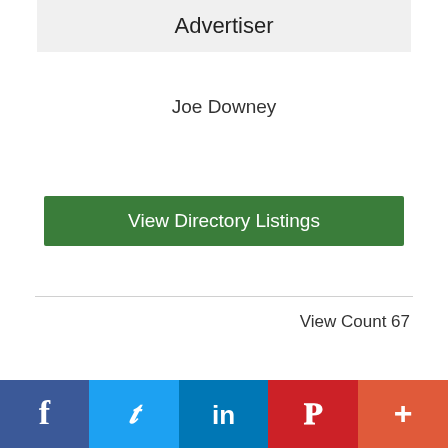Advertiser
Joe Downey
View Directory Listings
View Count 67
[Figure (other): Social media share buttons bar: Facebook (blue), Twitter (light blue), LinkedIn (dark blue), Pinterest (red), More/plus (orange-red)]